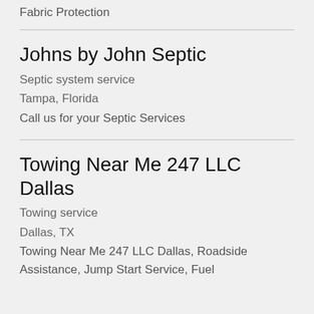Fabric Protection
Johns by John Septic
Septic system service
Tampa, Florida
Call us for your Septic Services
Towing Near Me 247 LLC Dallas
Towing service
Dallas, TX
Towing Near Me 247 LLC Dallas, Roadside Assistance, Jump Start Service, Fuel